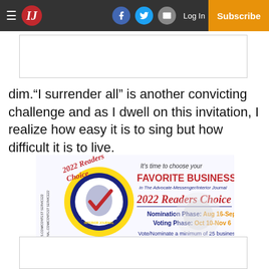IJ — Navigation bar with hamburger menu, IJ logo, Facebook, Twitter, mail icons, Log In, Subscribe
[Figure (other): Empty advertisement box placeholder at top]
dim.“I surrender all” is another convicting challenge and as I dwell on this invitation, I realize how easy it is to sing but how difficult it is to live.
[Figure (infographic): 2022 Readers' Choice advertisement for The Advocate-Messenger/Interior Journal. It's time to choose your FAVORITE BUSINESS in The Advocate-Messenger/Interior Journal. 2022 Readers Choice. Nomination Phase: Aug 16-Sep 18. Voting Phase: Oct 10-Nov 6. Vote/Nominate a minimum of 25 businesses.]
[Figure (other): Empty advertisement box placeholder at bottom]